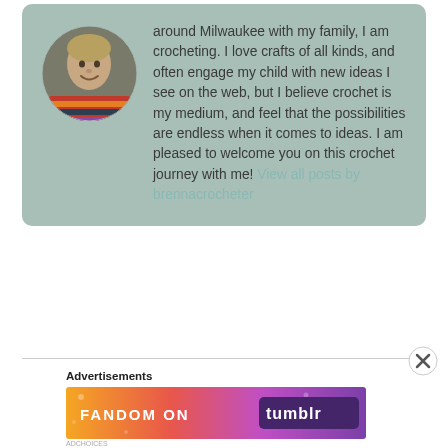[Figure (photo): Circular profile photo of a woman wearing a colorful crocheted cowl/shawl]
around Milwaukee with my family, I am crocheting. I love crafts of all kinds, and often engage my child with new ideas I see on the web, but I believe crochet is my medium, and feel that the possibilities are endless when it comes to ideas. I am pleased to welcome you on this crochet journey with me! View all posts by brennacrocheter
Advertisements
[Figure (screenshot): Advertisement banner for Fandom on Tumblr with colorful orange, pink and purple gradient background]